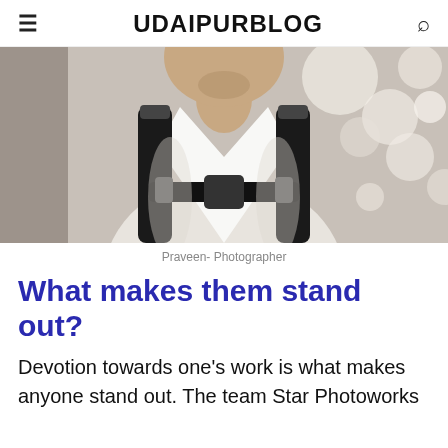UDAIPURBLOG
[Figure (photo): A man wearing a white shirt and a black camera harness/backpack straps, with bokeh lights in the background. Photo is cropped to show from shoulders/chest up to the face.]
Praveen- Photographer
What makes them stand out?
Devotion towards one's work is what makes anyone stand out. The team Star Photoworks